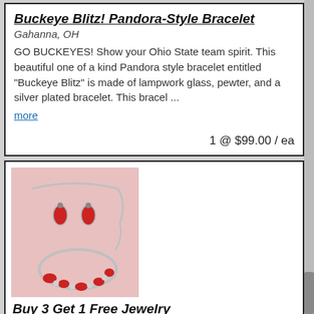Buckeye Blitz! Pandora-Style Bracelet
Gahanna, OH
GO BUCKEYES! Show your Ohio State team spirit. This beautiful one of a kind Pandora style bracelet entitled "Buckeye Blitz" is made of lampwork glass, pewter, and a silver plated bracelet. This bracel ...
more
1 @ $99.00 / ea
[Figure (photo): Photo of red and silver jewelry set including earrings, necklace, and bracelet on pink background]
Buy 3 Get 1 Free Jewelry
Anywhere , OH
Valentine's Special! Special Offers Buy 3 Buy select...